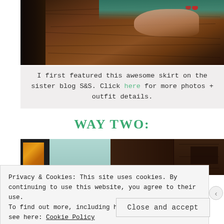[Figure (photo): A woman in a teal top with red-painted fingers resting on a dark wooden table, with a dark wooden chair visible on the left.]
I first featured this awesome skirt on the sister blog S&S. Click here for more photos + outfit details.
WAY TWO:
[Figure (photo): Two-panel photo: left side shows a room with a teal-painted wall and a black-framed artwork; right side shows dark wooden cabinetry.]
Privacy & Cookies: This site uses cookies. By continuing to use this website, you agree to their use.
To find out more, including how to control cookies, see here: Cookie Policy
Close and accept